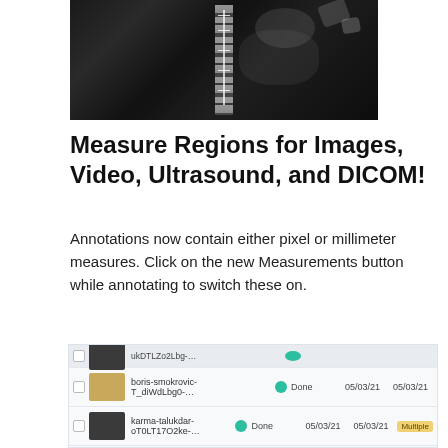[Figure (photo): X-ray/CT scan image of a spine/neck region, black and white medical imaging scan showing vertebrae]
Measure Regions for Images, Video, Ultrasound, and DICOM!
Annotations now contain either pixel or millimeter measures. Click on the new Measurements button while annotating to switch these on.
[Figure (screenshot): Screenshot of an annotation platform showing a list of image tasks with thumbnails, names, status dots, dates, and tags. Rows include: boris-smokrovic-T_diWdLbg0 (Done, 05/03/21, 05/03/21), karma-talukdar-oT0LT17O2ke (Done, 05/03/21, 05/03/21, Multiple tag), joshua-j-cotten-4uJZ3dDSPWM (Done, 05/03/21, 05/03/21), richard-sagredo-3Q..U067g (Done, 05/03/21, 05/03/21), sushant-sodanwar (Being annotated, 05/03/21, 05/03/21), erzsebet (Done, 05/03/21)]